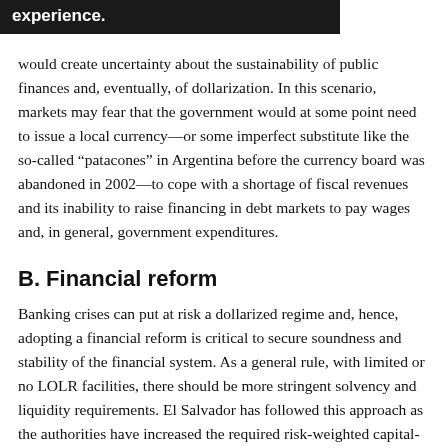would create uncertainty about the sustainability of public finances and, eventually, of dollarization. In this scenario, markets may fear that the government would at some point need to issue a local currency—or some imperfect substitute like the so-called “patacones” in Argentina before the currency board was abandoned in 2002—to cope with a shortage of fiscal revenues and its inability to raise financing in debt markets to pay wages and, in general, government expenditures.
B. Financial reform
Banking crises can put at risk a dollarized regime and, hence, adopting a financial reform is critical to secure soundness and stability of the financial system. As a general rule, with limited or no LOLR facilities, there should be more stringent solvency and liquidity requirements. El Salvador has followed this approach as the authorities have increased the required risk-weighted capital-asset ratio to 12 percent—well above the 8 percent required in Basel I—and introduced in